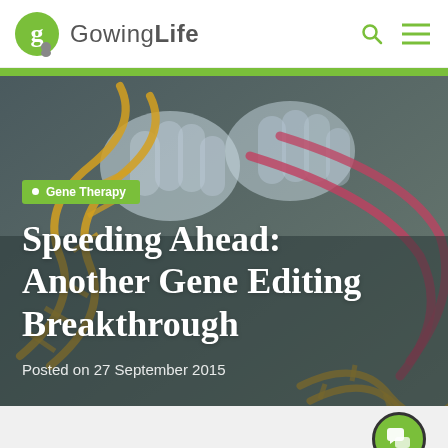[Figure (logo): Gowing Life logo with green G icon and gray/green wordmark]
[Figure (photo): Hero image showing gloved hands manipulating a model of DNA double helix strands (gold and pink) on a dark gray background, with an article title and date overlay]
Speeding Ahead: Another Gene Editing Breakthrough
Posted on 27 September 2015